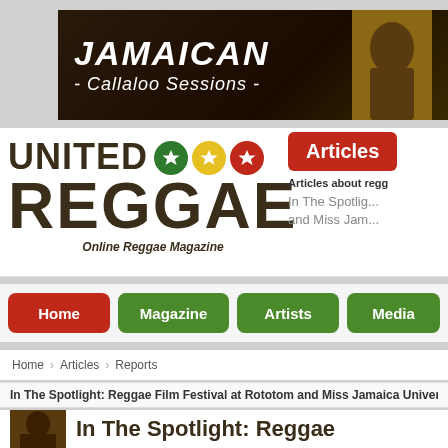[Figure (screenshot): Jamaican Callaloo Sessions banner with white script text on dark background and woman photo]
[Figure (logo): United Reggae logo with three colored star circles (green, yellow, red) and text 'Online Reggae Magazine']
Articles
Articles about regg...
In The Spotlight... and Miss Jam...
Home
Magazine
Artists
Media
Home > Articles > Reports
In The Spotlight: Reggae Film Festival at Rototom and Miss Jamaica Univer...
In The Spotlight: Reggae